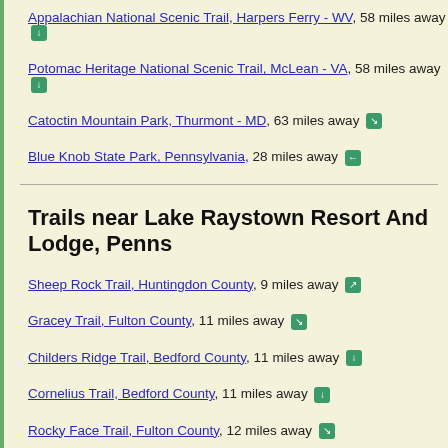Appalachian National Scenic Trail, Harpers Ferry - WV, 58 miles away
Potomac Heritage National Scenic Trail, McLean - VA, 58 miles away
Catoctin Mountain Park, Thurmont - MD, 63 miles away
Blue Knob State Park, Pennsylvania, 28 miles away
Trails near Lake Raystown Resort And Lodge, Pennsylvania
Sheep Rock Trail, Huntingdon County, 9 miles away
Gracey Trail, Fulton County, 11 miles away
Childers Ridge Trail, Bedford County, 11 miles away
Cornelius Trail, Bedford County, 11 miles away
Rocky Face Trail, Fulton County, 12 miles away
Moseby Trail, Fulton County, 12 miles away